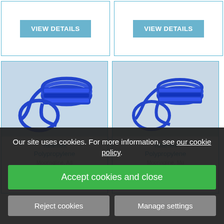[Figure (screenshot): Two 'VIEW DETAILS' buttons in blue, side by side at top of product listing page]
[Figure (photo): Blue polypropylene rope coiled with a loop end, left product card]
[Figure (photo): Blue polypropylene rope coiled with a loop end, right product card]
Talamex Polypropylene
Mooringline, Ad Blue 8mm X 6...
Talamex Polypropylene
Mooringline, Mu Blue 100m X 10m
Our site uses cookies. For more information, see our cookie policy.
Accept cookies and close
Reject cookies
Manage settings